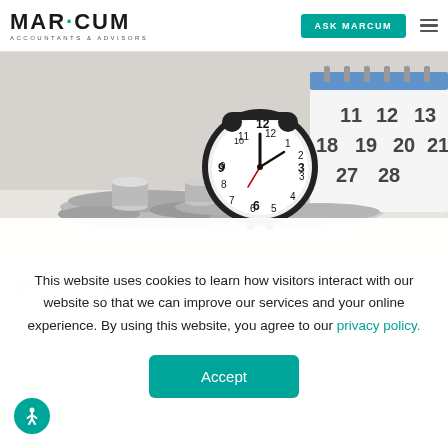MARCUM ACCOUNTANTS & ADVISORS | ASK MARCUM
[Figure (photo): Photo of an alarm clock surrounded by coins on a white table, with a calendar visible in the background]
AUGUST 26, 2022
IRS Provides Relief from Certain Late Filing Penalties...
This website uses cookies to learn how visitors interact with our website so that we can improve our services and your online experience. By using this website, you agree to our privacy policy.
Accept